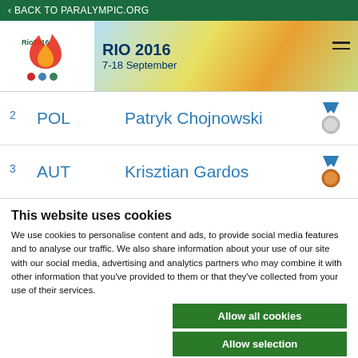< BACK TO PARALYMPIC.ORG
[Figure (screenshot): Rio 2016 Paralympic Games banner with logo, dates 7-18 September, and colorful background]
| Rank | Country | Athlete | Medal |
| --- | --- | --- | --- |
| 2 | POL | Patryk Chojnowski | Silver |
| 3 | AUT | Krisztian Gardos | Bronze |
This website uses cookies
We use cookies to personalise content and ads, to provide social media features and to analyse our traffic. We also share information about your use of our site with our social media, advertising and analytics partners who may combine it with other information that you've provided to them or that they've collected from your use of their services.
Allow all cookies
Allow selection
Use necessary cookies only
Necessary  Preferences  Statistics  Marketing  Show details